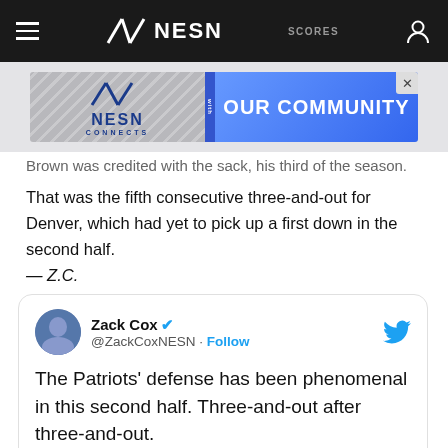NESN — Navigation bar with hamburger menu, NESN logo, SCORES, user icon
[Figure (other): NESN CONNECTS advertisement banner with 'with OUR COMMUNITY' text on blue background]
Brown was credited with the sack, his third of the season.
That was the fifth consecutive three-and-out for Denver, which had yet to pick up a first down in the second half. — Z.C.
[Figure (screenshot): Embedded tweet from Zack Cox (@ZackCoxNESN) with verified checkmark and Follow button. Tweet text: 'The Patriots' defense has been phenomenal in this second half. Three-and-out after three-and-out.' Below is a score row showing N 31  3  2  0  2]